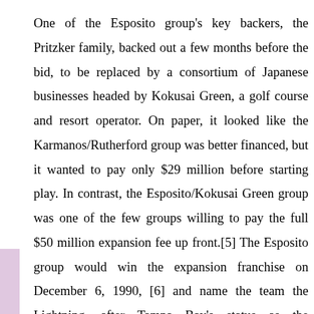One of the Esposito group's key backers, the Pritzker family, backed out a few months before the bid, to be replaced by a consortium of Japanese businesses headed by Kokusai Green, a golf course and resort operator. On paper, it looked like the Karmanos/Rutherford group was better financed, but it wanted to pay only $29 million before starting play. In contrast, the Esposito/Kokusai Green group was one of the few groups willing to pay the full $50 million expansion fee up front.[5] The Esposito group would win the expansion franchise on December 6, 1990, [6] and name the team the Lightning, after Tampa Bay's status as the "Lightning Capital of North America."
[Figure (photo): A photograph showing two men, one in the foreground center and one partially visible on the right side. The background shows a room with a framed painting or picture on the wall.]